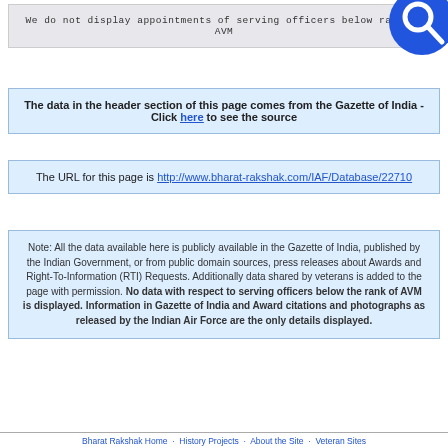We do not display appointments of serving officers below rank of AVM
The data in the header section of this page comes from the Gazette of India - Click here to see the source
The URL for this page is http://www.bharat-rakshak.com/IAF/Database/22710
Note: All the data available here is publicly available in the Gazette of India, published by the Indian Government, or from public domain sources, press releases about Awards and Right-To-Information (RTI) Requests. Additionally data shared by veterans is added to the page with permission. No data with respect to serving officers below the rank of AVM is displayed. Information in Gazette of India and Award citations and photographs as released by the Indian Air Force are the only details displayed.
Bharat Rakshak Home  History Projects  About the Site  Veteran Sites